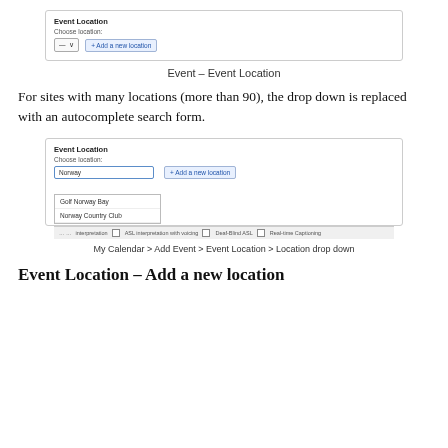[Figure (screenshot): Screenshot of Event Location UI with Choose location dropdown and Add a new location button]
Event – Event Location
For sites with many locations (more than 90), the drop down is replaced with an autocomplete search form.
[Figure (screenshot): Screenshot of Event Location UI with autocomplete search showing Norway typed, with dropdown showing Golf Norway Bay and Norway Country Club suggestions, and bottom bar with accessibility options]
My Calendar > Add Event > Event Location > Location drop down
Event Location – Add a new location